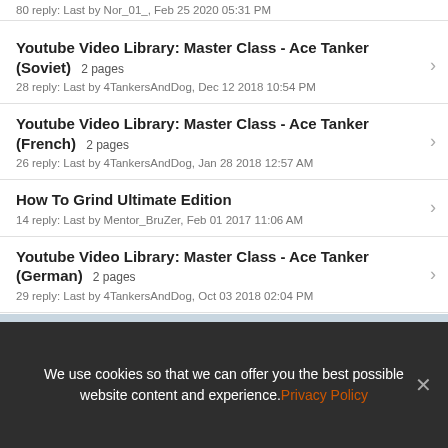80 reply: Last by Nor_01_, Feb 25 2020 05:31 PM
Youtube Video Library: Master Class - Ace Tanker (Soviet)  2 pages
28 reply: Last by 4TankersAndDog, Dec 12 2018 10:54 PM
Youtube Video Library: Master Class - Ace Tanker (French)  2 pages
26 reply: Last by 4TankersAndDog, Jan 28 2018 12:57 AM
How To Grind Ultimate Edition
14 reply: Last by Mentor_BruZer, Feb 01 2017 11:06 AM
Youtube Video Library: Master Class - Ace Tanker (German)  2 pages
29 reply: Last by 4TankersAndDog, Oct 03 2018 02:04 PM
Handbrake turn and NEW features in 9.14
12 reply: Last by Nimish_, Feb 19 2016 05:04 AM
We use cookies so that we can offer you the best possible website content and experience. Privacy Policy